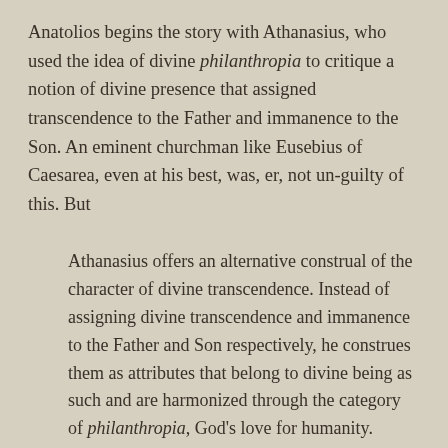Anatolios begins the story with Athanasius, who used the idea of divine philanthropia to critique a notion of divine presence that assigned transcendence to the Father and immanence to the Son. An eminent churchman like Eusebius of Caesarea, even at his best, was, er, not un-guilty of this. But
Athanasius offers an alternative construal of the character of divine transcendence. Instead of assigning divine transcendence and immanence to the Father and Son respectively, he construes them as attributes that belong to divine being as such and are harmonized through the category of philanthropia, God's love for humanity. While God is by nature inaccessible, he makes himself